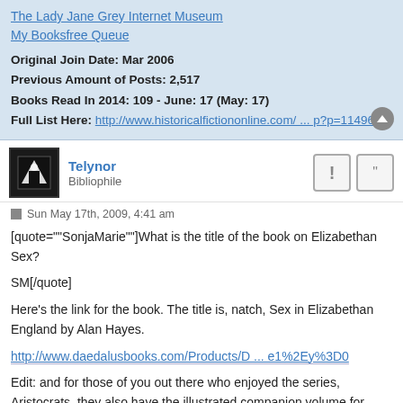The Lady Jane Grey Internet Museum
My Booksfree Queue
Original Join Date: Mar 2006
Previous Amount of Posts: 2,517
Books Read In 2014: 109 - June: 17 (May: 17)
Full List Here: http://www.historicalfictiononline.com/ ... p?p=114965
Telynor
Bibliophile
Sun May 17th, 2009, 4:41 am
[quote=""SonjaMarie""]What is the title of the book on Elizabethan Sex?

SM[/quote]

Here's the link for the book. The title is, natch, Sex in Elizabethan England by Alan Hayes.

http://www.daedalusbooks.com/Products/D ... e1%2Ey%3D0

Edit: and for those of you out there who enjoyed the series, Aristocrats, they also have the illustrated companion volume for under 2.00 -- a real steal.